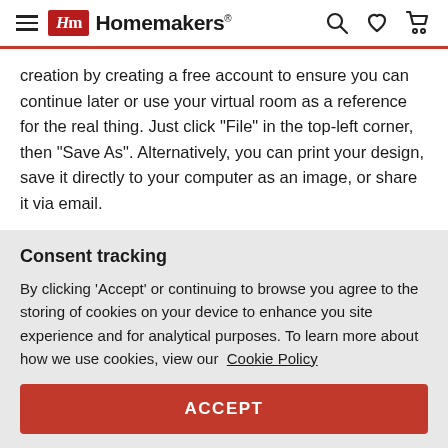Homemakers
creation by creating a free account to ensure you can continue later or use your virtual room as a reference for the real thing. Just click "File" in the top-left corner, then "Save As". Alternatively, you can print your design, save it directly to your computer as an image, or share it via email.

Looking for more detailed help? View the full instruction manual.
Consent tracking
By clicking 'Accept' or continuing to browse you agree to the storing of cookies on your device to enhance you site experience and for analytical purposes. To learn more about how we use cookies, view our Cookie Policy